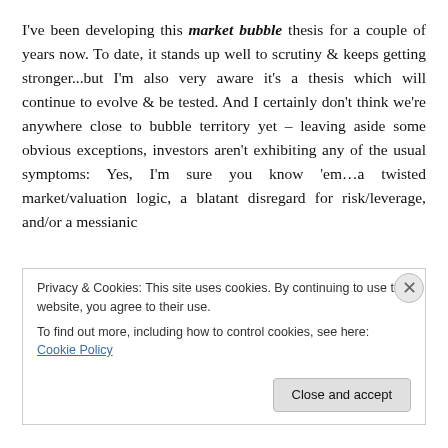I've been developing this market bubble thesis for a couple of years now. To date, it stands up well to scrutiny & keeps getting stronger...but I'm also very aware it's a thesis which will continue to evolve & be tested. And I certainly don't think we're anywhere close to bubble territory yet – leaving aside some obvious exceptions, investors aren't exhibiting any of the usual symptoms: Yes, I'm sure you know 'em…a twisted market/valuation logic, a blatant disregard for risk/leverage, and/or a messianic
Privacy & Cookies: This site uses cookies. By continuing to use this website, you agree to their use.
To find out more, including how to control cookies, see here: Cookie Policy